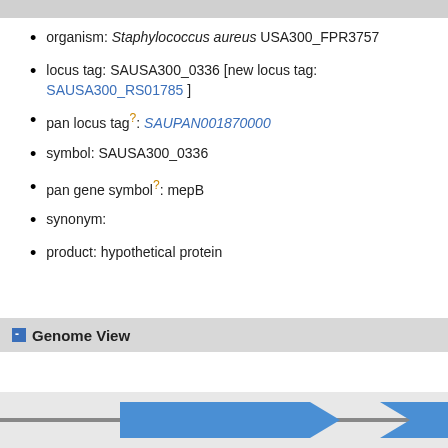organism: Staphylococcus aureus USA300_FPR3757
locus tag: SAUSA300_0336 [new locus tag: SAUSA300_RS01785 ]
pan locus tag?: SAUPAN001870000
symbol: SAUSA300_0336
pan gene symbol?: mepB
synonym:
product: hypothetical protein
Genome View
[Figure (schematic): Genome view showing two blue arrow-shaped gene features on a horizontal line representing the genome/chromosome]